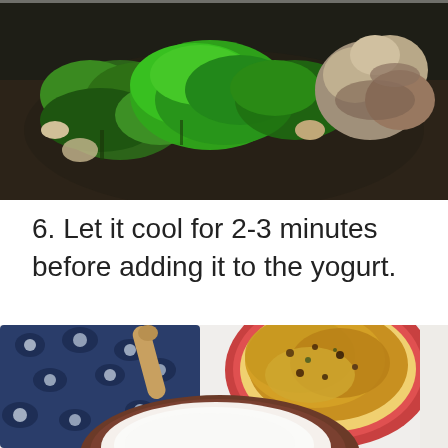[Figure (photo): Cooking photo showing dark wok/pan with green leafy vegetables (spinach/bok choy) being stir-fried with mushrooms and aromatics]
6. Let it cool for 2-3 minutes before adding it to the yogurt.
[Figure (photo): Food photo showing a plate of golden/turmeric colored rice or grain dish on a decorative red plate with a wooden spoon, a blue and white floral fabric/cloth, and a brown bowl with yogurt in the foreground, on a white surface]